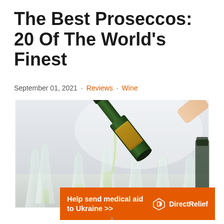The Best Proseccos: 20 Of The World's Finest
September 01, 2021  ·  Reviews  ·  Wine
[Figure (photo): A bottle of prosecco being poured into multiple champagne flutes arranged on a table, photographed close-up with a bright, slightly blurred background.]
Help send medical aid to Ukraine >>  Direct Relief